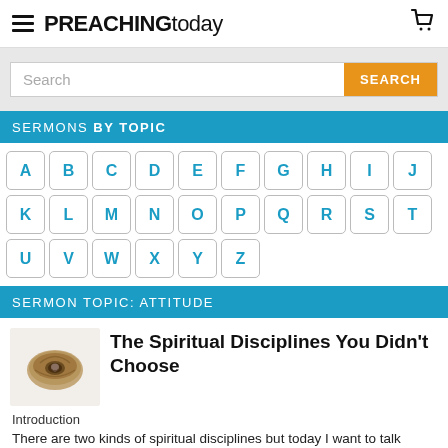PREACHING today
Search
SERMONS BY TOPIC
A B C D E F G H I J K L M N O P Q R S T U V W X Y Z
SERMON TOPIC: ATTITUDE
[Figure (photo): A dried seed pod or nut shell on a white background]
The Spiritual Disciplines You Didn't Choose
Introduction
There are two kinds of spiritual disciplines but today I want to talk about the kind that we understand less and that we struggle with more. ...